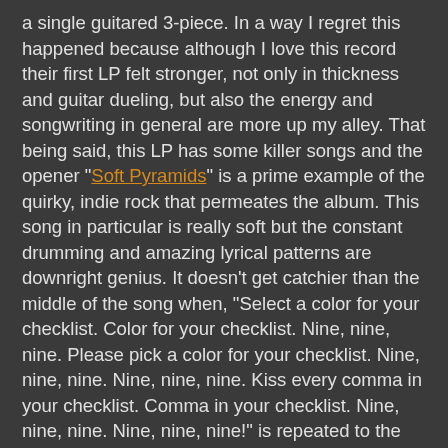a single guitared 3-piece. In a way I regret this happened because although I love this record their first LP felt stronger, not only in thickness and guitar dueling, but also the energy and songwriting in general are more up my alley. That being said, this LP has some killer songs and the opener "Soft Pyramids" is a prime example of the quirky, indie rock that permeates the album. This song in particular is really soft but the constant drumming and amazing lyrical patterns are downright genius. It doesn't get catchier than the middle of the song when, "Select a color for your checklist. Color for your checklist. Nine, nine, nine. Please pick a color for your checklist. Nine, nine, nine. Nine, nine, nine. Kiss every comma in your checklist. Comma in your checklist. Nine, nine, nine. Nine, nine, nine!" is repeated to the point of aural orgasms. "So Many Animal Calls" is a pounding and writhing number that includes some more aggressive singing and lots of dancey bass parts. "Air Conditions" takes the opposite approach and slows things down to some very basic, almost jungle-like parts and nearly whispered vocals that all culminate with a bass riff at 2:49 that will make each of your butt cheeks wiggle - at least a little bit. "Black Plastic Bag" turns the listener inside-out again as this is the black sheep